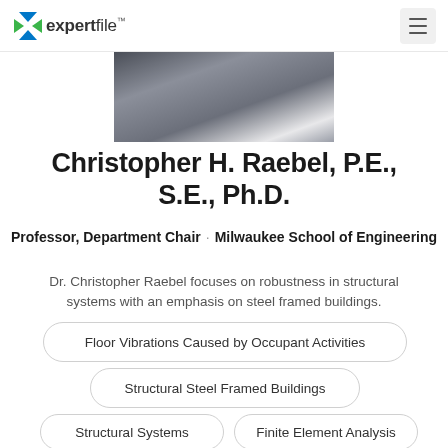expertfile
[Figure (photo): Partial photo of Christopher H. Raebel showing torso/suit, cropped at top]
Christopher H. Raebel, P.E., S.E., Ph.D.
Professor, Department Chair · Milwaukee School of Engineering
Dr. Christopher Raebel focuses on robustness in structural systems with an emphasis on steel framed buildings.
Floor Vibrations Caused by Occupant Activities
Structural Steel Framed Buildings
Structural Systems
Finite Element Analysis